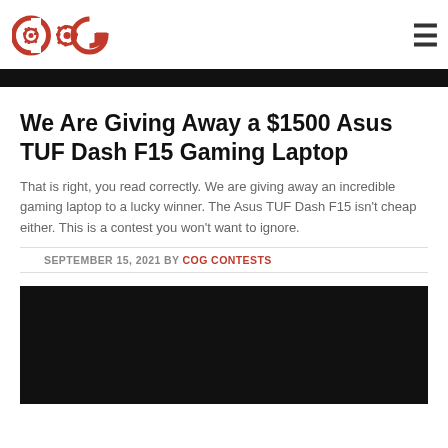COG logo and navigation menu
[Figure (photo): Dark image strip at top of page]
We Are Giving Away a $1500 Asus TUF Dash F15 Gaming Laptop
That is right, you read correctly. We are giving away an incredible gaming laptop to a lucky winner. The Asus TUF Dash F15 isn't cheap either. This is a contest you won't want to ignore.
SEPTEMBER 15, 2021 BY COG CONTESTS
[Figure (photo): Dark image of gaming laptop at bottom of page]